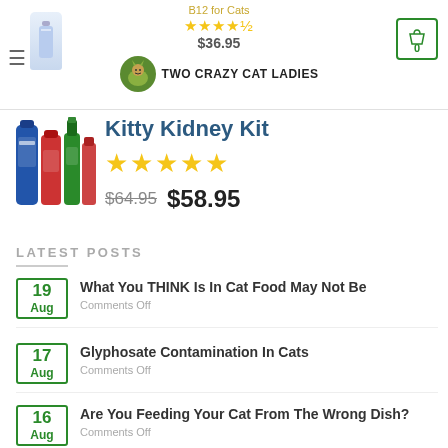Two Crazy Cat Ladies navigation header with hamburger menu, product thumbnail, star rating, $36.95 price, logo, and cart button showing 0
[Figure (photo): Kitty Kidney Kit product image showing multiple supplement bottles (blue, red, green)]
Kitty Kidney Kit
★★★★★
$64.95 $58.95
LATEST POSTS
19 Aug — What You THINK Is In Cat Food May Not Be — Comments Off
17 Aug — Glyphosate Contamination In Cats — Comments Off
16 Aug — Are You Feeding Your Cat From The Wrong Dish? — Comments Off
How To Help A Fat Cat (partial, cut off)